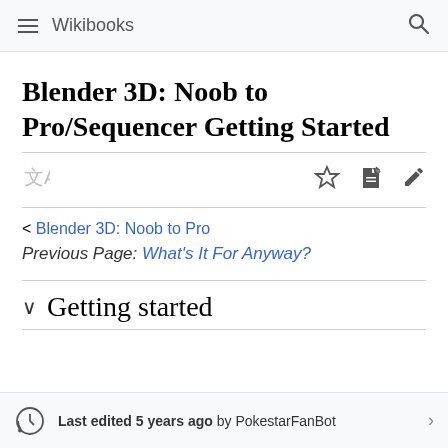Wikibooks
Blender 3D: Noob to Pro/Sequencer Getting Started
< Blender 3D: Noob to Pro
Previous Page: What's It For Anyway?
Getting started
Last edited 5 years ago by PokestarFanBot